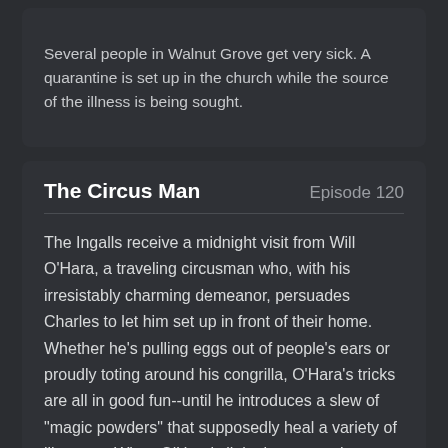Several people in Walnut Grove get very sick. A quarantine is set up in the church while the source of the illness is being sought.
The Circus Man
Episode 120
The Ingalls receive a midnight visit from Will O'Hara, a traveling circusman who, with his irresistably charming demeanor, persuades Charles to let him set up in front of their home. Whether he's pulling eggs out of people's ears or proudly toting around his congrilla, O'Hara's tricks are all in good fun--until he introduces a slew of "magic powders" that supposedly heal a variety of illnesses. When O'Hara's little theory nearly costs an appendicitis-stricken Mrs. Oleson her life, Charles asks him to leave town--only to track him